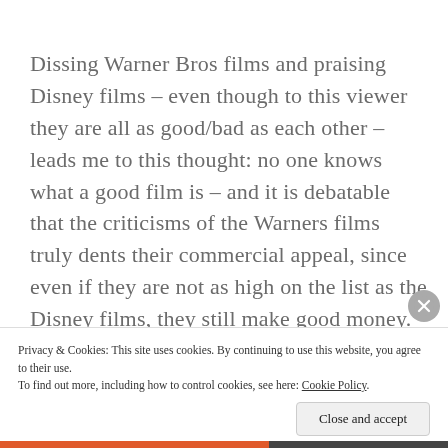Dissing Warner Bros films and praising Disney films – even though to this viewer they are all as good/bad as each other – leads me to this thought: no one knows what a good film is – and it is debatable that the criticisms of the Warners films truly dents their commercial appeal, since even if they are not as high on the list as the Disney films, they still make good money. But the perception of what a good film is
Privacy & Cookies: This site uses cookies. By continuing to use this website, you agree to their use.
To find out more, including how to control cookies, see here: Cookie Policy
Close and accept